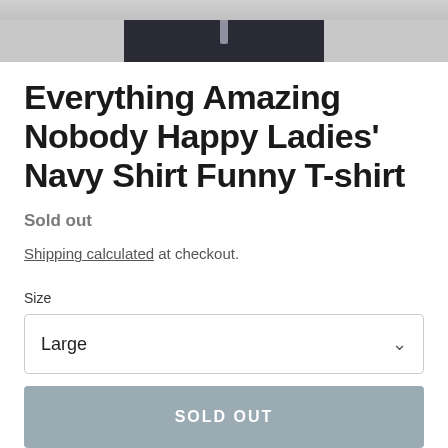[Figure (photo): Partial photo of a person wearing dark navy jeans, torso cropped, showing waist and jeans area only]
Everything Amazing Nobody Happy Ladies' Navy Shirt Funny T-shirt
Sold out
Shipping calculated at checkout.
Size
Large
SOLD OUT